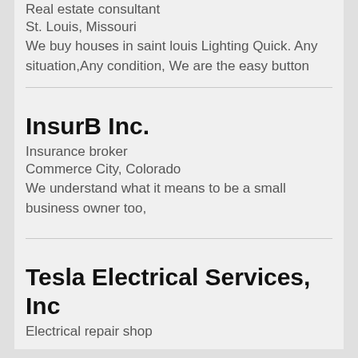Real estate consultant
St. Louis, Missouri
We buy houses in saint louis Lighting Quick. Any situation,Any condition, We are the easy button
InsurB Inc.
Insurance broker
Commerce City, Colorado
We understand what it means to be a small business owner too,
Tesla Electrical Services, Inc
Electrical repair shop